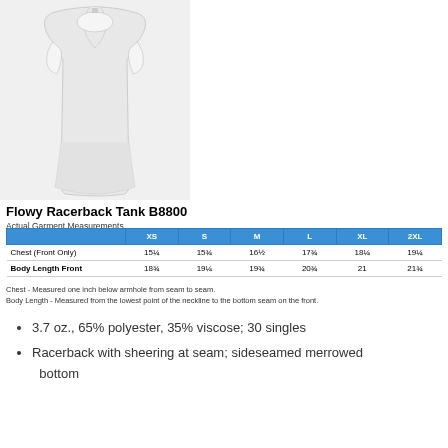[Figure (photo): White flowy racerback tank top product photo on white background]
Flowy Racerback Tank B8800
Actual Garment Measurements
|  | XS | S | M | L | XL | 2XL |
| --- | --- | --- | --- | --- | --- | --- |
| Chest (Front Only) | 15¼ | 15¾ | 16½ | 17¾ | 18¼ | 19¼ |
| Body Length Front | 18¾ | 19¼ | 19¾ | 20¾ | 21 | 21¾ |
Chest - Measured one inch below armhole from seam to seam.
Body Length - Measured from the lowest point of the neckline to the bottom seam on the front.
3.7 oz., 65% polyester, 35% viscose; 30 singles
Racerback with sheering at seam; sideseamed merrowed bottom